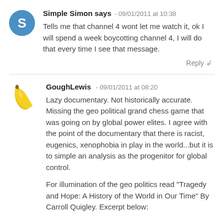Simple Simon says - 09/01/2011 at 10:38
Tells me that channel 4 wont let me watch it, ok I will spend a week boycotting channel 4, I will do that every time I see that message.
Reply
GoughLewis - 09/01/2011 at 08:20
Lazy documentary. Not historically accurate. Missing the geo political grand chess game that was going on by global power elites. I agree with the point of the documentary that there is racist, eugenics, xenophobia in play in the world...but it is to simple an analysis as the progenitor for global control.

For illumination of the geo politics read "Tragedy and Hope: A History of the World in Our Time" By Carroll Quigley. Excerpt below: